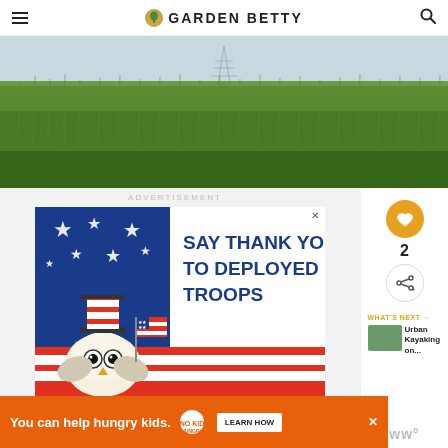GARDEN BETTY
[Figure (photo): Dense tall green grass/reeds field with power line tower in background against hazy sky]
ADVERTISEMENT
[Figure (illustration): Advertisement banner: 'SAY THANK YOU TO DEPLOYED TROOPS' with patriotic owl holding American flag, red white and blue design]
[Figure (illustration): Bottom orange banner advertisement: 'You can help hungry kids.' with No Kid Hungry logo and LEARN HOW button]